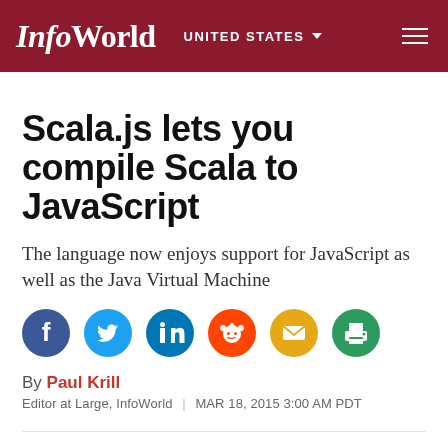InfoWorld  UNITED STATES
Scala.js lets you compile Scala to JavaScript
The language now enjoys support for JavaScript as well as the Java Virtual Machine
[Figure (infographic): Social sharing icons: Facebook (blue), Twitter (blue), LinkedIn (blue), Reddit (orange-red), Email (gold/yellow), Print (green)]
By Paul Krill
Editor at Large, InfoWorld  |  MAR 18, 2015 3:00 AM PDT
Scala, a language for functional and object...